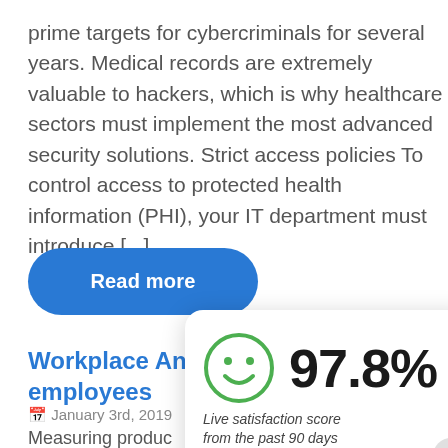prime targets for cybercriminals for several years. Medical records are extremely valuable to hackers, which is why healthcare sectors must implement the most advanced security solutions. Strict access policies To control access to protected health information (PHI), your IT department must introduce [...]
Read more
Workplace Analytics evaluates employees
January 3rd, 2019
Measuring produc
[Figure (infographic): A satisfaction score overlay widget showing 97.8% with a green smiley face icon, labeled 'Live satisfaction score from the past 90 days', sourced by simplesat]